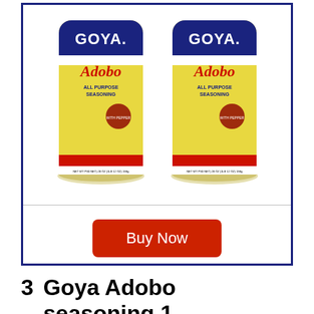[Figure (photo): Two cylindrical containers of Goya Adobo All Purpose Seasoning with pepper, yellow canisters with red and blue branding, shown side by side]
Buy Now
3   Goya Adobo seasoning,1